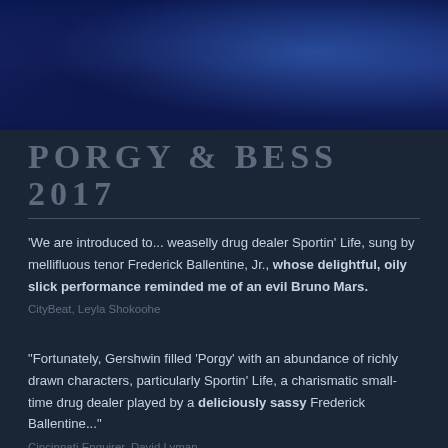[Figure (photo): Photo of a performer on stage in blue lighting, wearing ornate costume, cropped at top of page]
PORGY & BESS 2017
'We are introduced to... weaselly drug dealer Sportin' Life, sung by mellifluous tenor Frederick Ballentine, Jr., whose delightful, oily slick performance reminded me of an evil Bruno Mars.
CityBeat, Leyla Shokoohe
"Fortunately, Gershwin filled 'Porgy' with an abundance of richly drawn characters, particularly Sportin' Life, a charismatic small-time drug dealer played by a deliciously sassy Frederick Ballentine..."
Cincinnati Enquirer, David Lyman